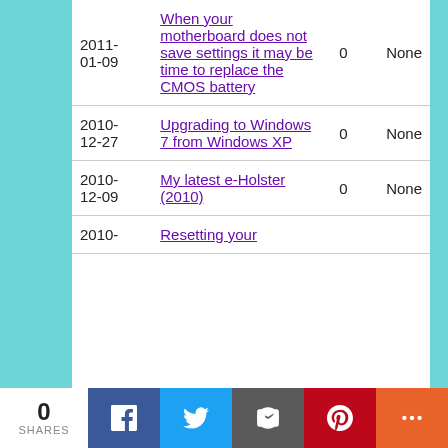| Date | Title | Count | Tags |
| --- | --- | --- | --- |
| 2011-01-09 | When your motherboard does not save settings it may be time to replace the CMOS battery | 0 | None |
| 2010-12-27 | Upgrading to Windows 7 from Windows XP | 0 | None |
| 2010-12-09 | My latest e-Holster (2010) | 0 | None |
| 2010- | Resetting your |  |  |
0 SHARES | Facebook | Twitter | Email | Pinterest | More